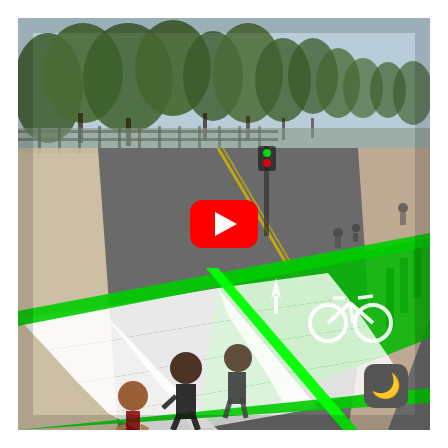[Figure (photo): A street scene showing pedestrians crossing a crosswalk with bright green painted bike lane markings and white zebra crossing stripes on the road. In the background are trees, a park area, and an urban road. A YouTube play button (red rounded rectangle with white triangle) is overlaid in the center of the image. A dark mode toggle button (dark gray rounded square with a crescent moon icon) appears in the bottom-right corner.]